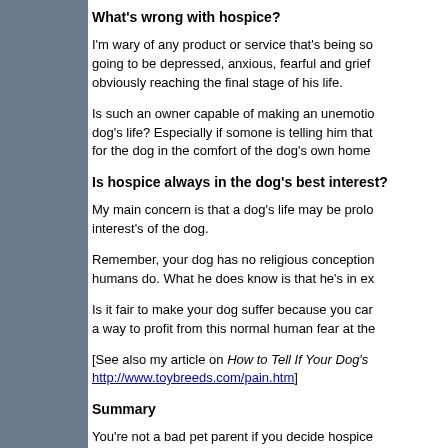What's wrong with hospice?
I'm wary of any product or service that's being so going to be depressed, anxious, fearful and grief obviously reaching the final stage of his life.
Is such an owner capable of making an unemotio dog's life? Especially if somone is telling him that for the dog in the comfort of the dog's own home
Is hospice always in the dog's best interest?
My main concern is that a dog's life may be prolo interest's of the dog.
Remember, your dog has no religious conception humans do. What he does know is that he's in ex
Is it fair to make your dog suffer because you car a way to profit from this normal human fear at the
[See also my article on How to Tell If Your Dog's http://www.toybreeds.com/pain.htm]
Summary
You're not a bad pet parent if you decide hospice
On the other hand, if you've been honest with you